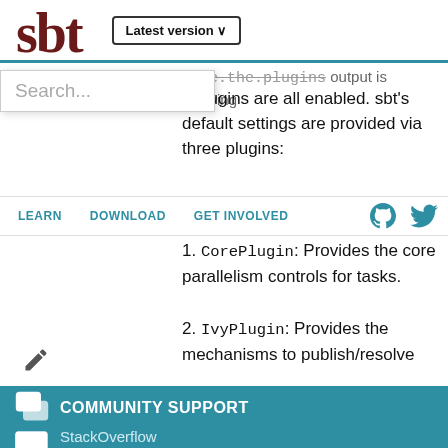[Figure (logo): sbt logo in dark red serif font]
Latest version ∨
Search...
more.the.plugins output is showing
lt plugins are all enabled. sbt's default settings are provided via three plugins:
LEARN    DOWNLOAD    GET INVOLVED
1. CorePlugin: Provides the core parallelism controls for tasks.
2. IvyPlugin: Provides the mechanisms to publish/resolve
COMMUNITY SUPPORT
StackOverflow
COMMERCIAL SUPPORT
Lightbend Subscription  Training  Consulting
© 2016-2022 Lightbend